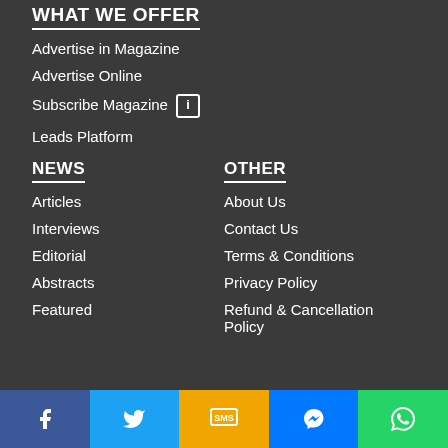WHAT WE OFFER
Advertise in Magazine
Advertise Online
Subscribe Magazine [i]
Leads Platform
NEWS
Articles
Interviews
Editorial
Abstracts
Featured
OTHER
About Us
Contact Us
Terms & Conditions
Privacy Policy
Refund & Cancellation Policy